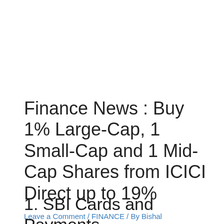Finance News : Buy 1% Large-Cap, 1 Small-Cap and 1 Mid-Cap Shares from ICICI Direct up to 19%
Leave a Comment / FINANCE / By Bishal
1. SBI Cards and Payments